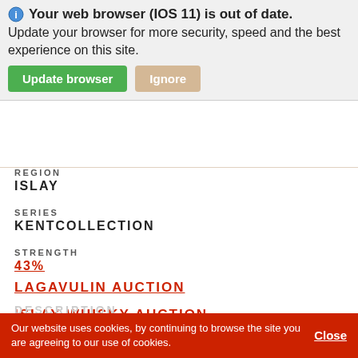[Figure (screenshot): Browser update notification banner with shield icon, message 'Your web browser (IOS 11) is out of date. Update your browser for more security, speed and the best experience on this site.', green 'Update browser' button and tan 'Ignore' button.]
COUNTRY
SCOTLAND
REGION
ISLAY
SERIES
KENTCOLLECTION
STRENGTH
43%
LAGAVULIN AUCTION
ISLAY WHISKY AUCTION
DESCRIPTION
Our website uses cookies, by continuing to browse the site you are agreeing to our use of cookies. Close